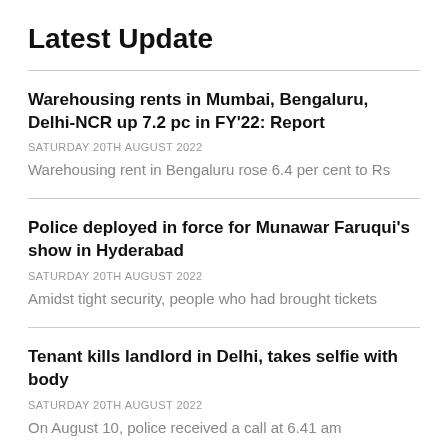Latest Update
Warehousing rents in Mumbai, Bengaluru, Delhi-NCR up 7.2 pc in FY'22: Report
SATURDAY 20TH AUGUST 2022
Warehousing rent in Bengaluru rose 6.4 per cent to Rs
Police deployed in force for Munawar Faruqui's show in Hyderabad
SATURDAY 20TH AUGUST 2022
Amidst tight security, people who had brought tickets
Tenant kills landlord in Delhi, takes selfie with body
SATURDAY 20TH AUGUST 2022
On August 10, police received a call at 6.41 am